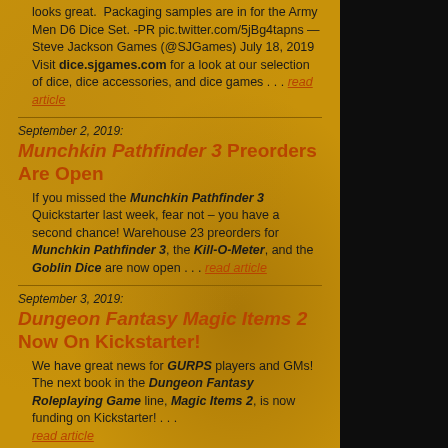looks great.  Packaging samples are in for the Army Men D6 Dice Set. -PR pic.twitter.com/5jBg4tapns — Steve Jackson Games (@SJGames) July 18, 2019 Visit dice.sjgames.com for a look at our selection of dice, dice accessories, and dice games . . . read article
September 2, 2019:
Munchkin Pathfinder 3 Preorders Are Open
If you missed the Munchkin Pathfinder 3 Quickstarter last week, fear not – you have a second chance! Warehouse 23 preorders for Munchkin Pathfinder 3, the Kill-O-Meter, and the Goblin Dice are now open . . . read article
September 3, 2019:
Dungeon Fantasy Magic Items 2 Now On Kickstarter!
We have great news for GURPS players and GMs! The next book in the Dungeon Fantasy Roleplaying Game line, Magic Items 2, is now funding on Kickstarter! . . . read article